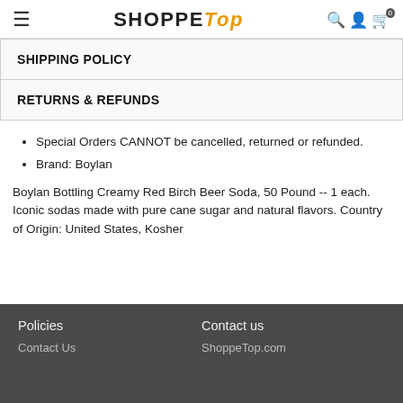SHOPPETOP
SHIPPING POLICY
RETURNS & REFUNDS
Special Orders CANNOT be cancelled, returned or refunded.
Brand: Boylan
Boylan Bottling Creamy Red Birch Beer Soda, 50 Pound -- 1 each. Iconic sodas made with pure cane sugar and natural flavors. Country of Origin: United States, Kosher
Policies | Contact us | Contact Us | ShoppeTop.com